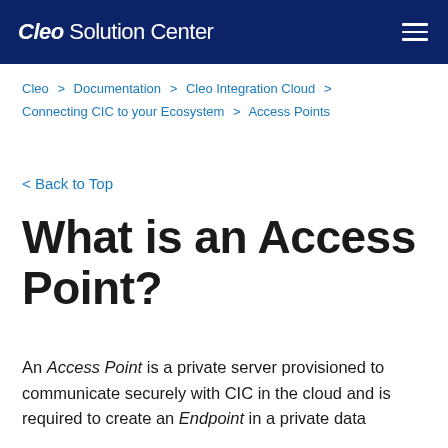Cleo Solution Center
Cleo > Documentation > Cleo Integration Cloud > Connecting CIC to your Ecosystem > Access Points
< Back to Top
What is an Access Point?
An Access Point is a private server provisioned to communicate securely with CIC in the cloud and is required to create an Endpoint in a private data